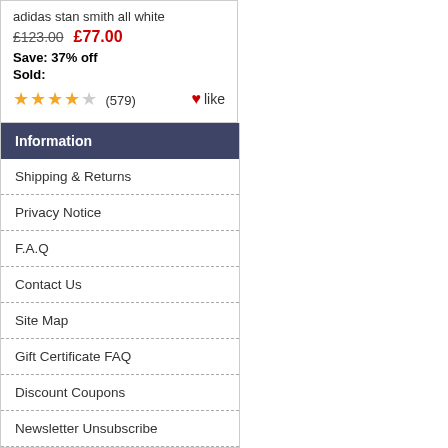adidas stan smith all white
£123.00  £77.00
Save: 37% off
Sold:
★★★★☆ (579) like
Information
Shipping & Returns
Privacy Notice
F.A.Q
Contact Us
Site Map
Gift Certificate FAQ
Discount Coupons
Newsletter Unsubscribe
Who's Online
There currently are 3 guests online.